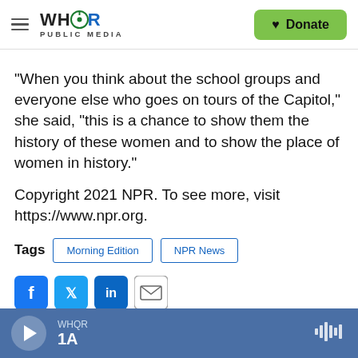WHQR PUBLIC MEDIA | Donate
"When you think about the school groups and everyone else who goes on tours of the Capitol," she said, "this is a chance to show them the history of these women and to show the place of women in history."
Copyright 2021 NPR. To see more, visit https://www.npr.org.
Tags: Morning Edition | NPR News
[Figure (other): Social sharing icons: Facebook, Twitter, LinkedIn, Email]
WHQR 1A player bar